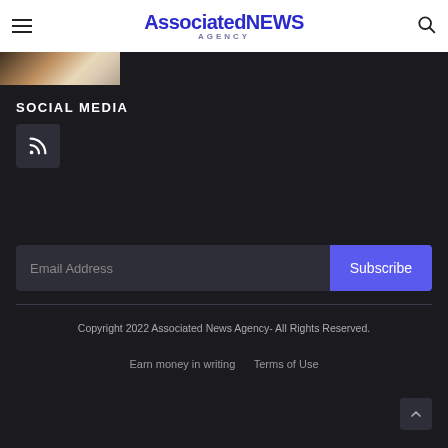AssociatedNEWS AGENCY
[Figure (photo): Partial image of a document or book at top left of dark background area]
SOCIAL MEDIA
[Figure (other): RSS feed icon button in dark square]
Email Address
Subscribe
Copyright 2022 Associated News Agency- All Rights Reserved.
Earn money in writing   Terms of Use